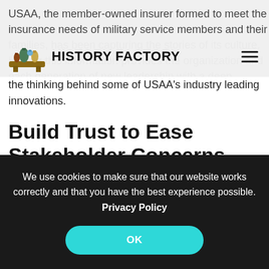USAA, the member-owned insurer formed to meet the insurance needs of military service members and their families, has been capturing the stories of its culture. Having this information provides the organization and each generation of new leadership with a deep understanding of the thinking behind some of USAA's industry leading innovations.
HISTORY FACTORY
Build Trust to Ease Stakeholder Concerns
Leadership transitions, like all major changes, generate a certain amount of anxiety inside and outside of organizations. It is important for stakeholders to receive...
We use cookies to make sure that our website works correctly and that you have the best experience possible. Privacy Policy